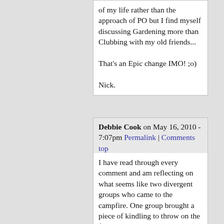of my life rather than the approach of PO but I find myself discussing Gardening more than Clubbing with my old friends...

That's an Epic change IMO! ;o)

Nick.
Debbie Cook on May 16, 2010 - 7:07pm Permalink | Comments top
I have read through every comment and am reflecting on what seems like two divergent groups who came to the campfire. One group brought a piece of kindling to throw on the fire to draw us toward the